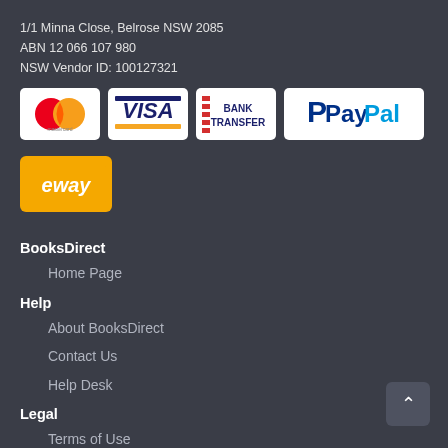1/1 Minna Close, Belrose NSW 2085
ABN 12 066 107 980
NSW Vendor ID: 100127321
[Figure (logo): Mastercard payment logo - two overlapping red and orange circles on white background]
[Figure (logo): VISA payment logo - blue text on white background with yellow stripe]
[Figure (logo): Bank Transfer logo - red striped icon with BANK TRANSFER text on white background]
[Figure (logo): PayPal payment logo - blue P icon with PayPal text on white background]
[Figure (logo): eWAY payment logo - white italic eway text on yellow/gold background]
BooksDirect
Home Page
Help
About BooksDirect
Contact Us
Help Desk
Legal
Terms of Use